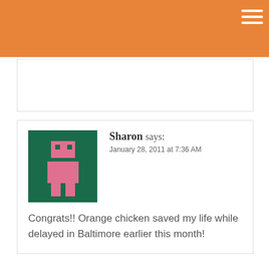gastronomyblog.com header navigation
Sharon says: January 28, 2011 at 7:36 AM
Congrats!! Orange chicken saved my life while delayed in Baltimore earlier this month!
[Figure (illustration): Decorative food-related icons (whisk, plate, utensils) in light grey outline style]
Also delicious on Gastronomy...
[Figure (logo): Gastronomy blog logo with cursive title and wavy line decoration, with text 'BY CATHY CHAPLIN']
Horses – Hollywood | G...
gastronomyblog.com
+ AddThis